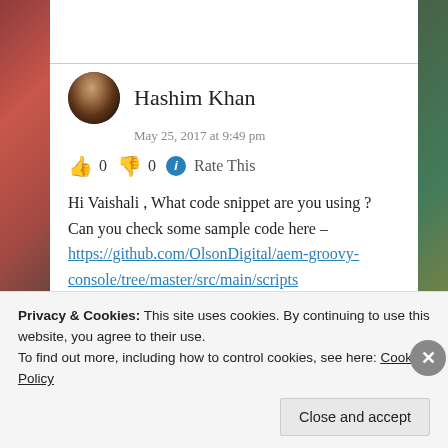Hashim Khan
May 25, 2017 at 9:49 pm
👍 0 👎 0 ℹ Rate This
Hi Vaishali , What code snippet are you using ? Can you check some sample code here – https://github.com/OlsonDigital/aem-groovy-console/tree/master/src/main/scripts
★ Like
Log in to Reply
Privacy & Cookies: This site uses cookies. By continuing to use this website, you agree to their use.
To find out more, including how to control cookies, see here: Cookie Policy
Close and accept